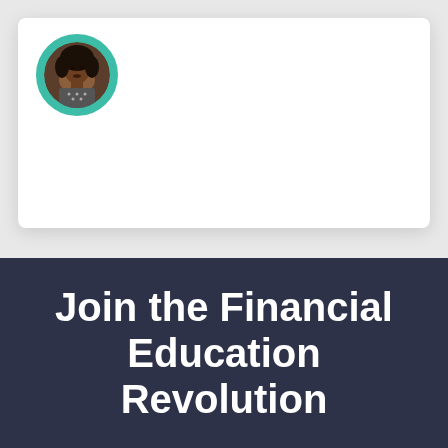[Figure (photo): A circular profile photo of a woman with curly black hair, wearing a patterned top, framed with a teal/green circular border, displayed on a white card with drop shadow on a light gray background.]
Join the Financial Education Revolution